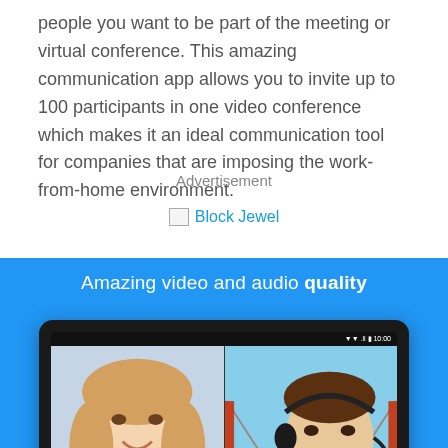people you want to be part of the meeting or virtual conference. This amazing communication app allows you to invite up to 100 participants in one video conference which makes it an ideal communication tool for companies that are imposing the work-from-home environment.
Advertisement
[Figure (other): Block Jewel advertisement link with broken image icon]
[Figure (screenshot): App promotional banner with blue background showing 'Amazing video and audio quality' text and a tablet displaying a video conference with two participants - a woman and a man with a headset, with the Golden Gate Bridge visible in the background behind the man.]